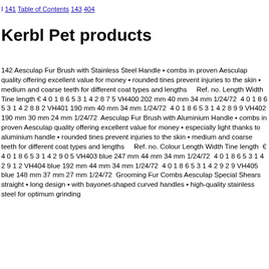I 141 Table of Contents 143 404
Kerbl Pet products
142 Aesculap Fur Brush with Stainless Steel Handle • combs in proven Aesculap quality offering excellent value for money • rounded tines prevent injuries to the skin • medium and coarse teeth for different coat types and lengths    Ref. no. Length Width Tine length € 4 0 1 8 6 5 3 1 4 2 8 7 5 VH400 202 mm 40 mm 34 mm 1/24/72  4 0 1 8 6 5 3 1 4 2 8 8 2 VH401 190 mm 40 mm 34 mm 1/24/72  4 0 1 8 6 5 3 1 4 2 8 9 9 VH402 190 mm 30 mm 24 mm 1/24/72  Aesculap Fur Brush with Aluminium Handle • combs in proven Aesculap quality offering excellent value for money • especially light thanks to aluminium handle • rounded tines prevent injuries to the skin • medium and coarse teeth for different coat types and lengths    Ref. no. Colour Length Width Tine length  € 4 0 1 8 6 5 3 1 4 2 9 0 5 VH403 blue 247 mm 44 mm 34 mm 1/24/72  4 0 1 8 6 5 3 1 4 2 9 1 2 VH404 blue 192 mm 44 mm 34 mm 1/24/72  4 0 1 8 6 5 3 1 4 2 9 2 9 VH405 blue 148 mm 37 mm 27 mm 1/24/72  Grooming Fur Combs Aesculap Special Shears straight • long design • with bayonet-shaped curved handles • high-quality stainless steel for optimum grinding